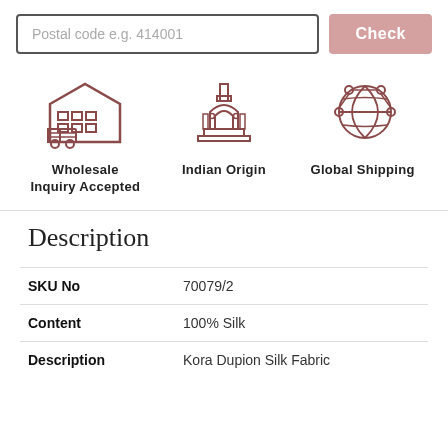Postal code e.g. 414001
Check
[Figure (illustration): Three icons in a row: (1) Wholesale - warehouse building with delivery truck, (2) Indian Origin - India Gate monument, (3) Global Shipping - globe with network nodes]
Wholesale Inquiry Accepted
Indian Origin
Global Shipping
Description
| SKU No | 70079/2 |
| Content | 100% Silk |
| Description | Kora Dupion Silk Fabric |